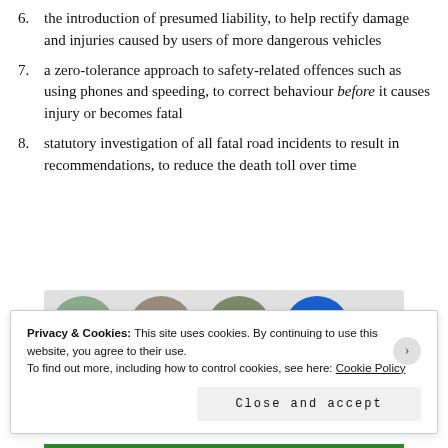6. the introduction of presumed liability, to help rectify damage and injuries caused by users of more dangerous vehicles
7. a zero-tolerance approach to safety-related offences such as using phones and speeding, to correct behaviour before it causes injury or becomes fatal
8. statutory investigation of all fatal road incidents to result in recommendations, to reduce the death toll over time
[Figure (photo): Four circular avatar images of people in a grey banner, the last being a blue circle with a plus icon]
Privacy & Cookies: This site uses cookies. By continuing to use this website, you agree to their use.
To find out more, including how to control cookies, see here: Cookie Policy
Close and accept